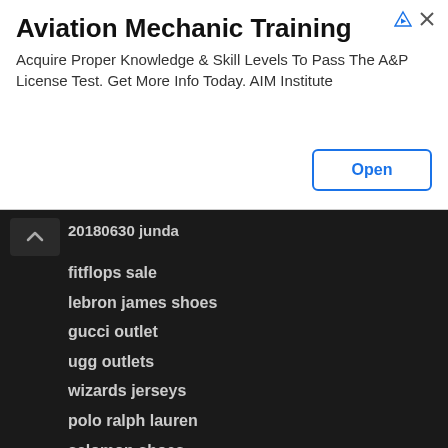[Figure (other): Advertisement banner for Aviation Mechanic Training by AIM Institute with an Open button]
20180630 junda
fitflops sale
lebron james shoes
gucci outlet
ugg outlets
wizards jerseys
polo ralph lauren
salomon shoes
dansko shoes
ugg outlet
wellensteyn jackets
Reply
jjjjjjjjjjjj July 16, 2018 at 8:26 PM
off white clothing
harden shoes